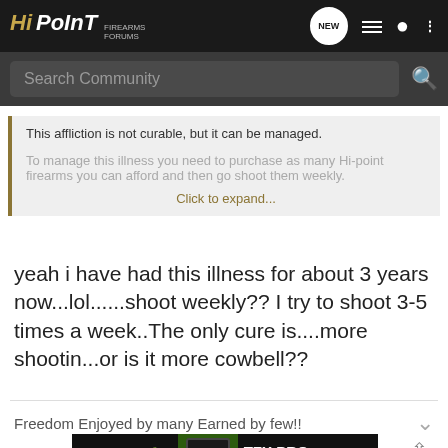HiPoint Firearms Forums - Search Community
This affliction is not curable, but it can be managed.

To manage this illness you need to purchase as many Hi-point firearms you can afford and then go shoot them weekly.

Click to expand...
yeah i have had this illness for about 3 years now...lol......shoot weekly?? I try to shoot 3-5 times a week..The only cure is....more shootin...or is it more cowbell??
Freedom Enjoyed by many Earned by few!!
[Figure (screenshot): TRUGLO TFX PRO advertisement banner - Tritium + Fiber-Optic Extreme, When Brightness Counts]